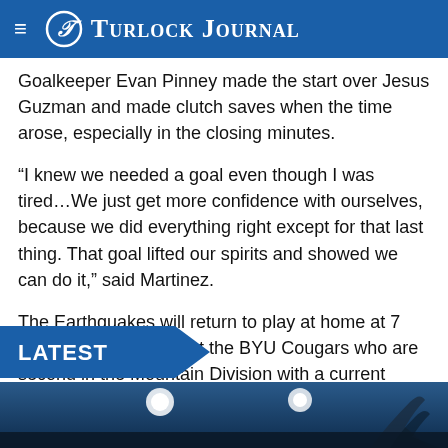Turlock Journal
Goalkeeper Evan Pinney made the start over Jesus Guzman and made clutch saves when the time arose, especially in the closing minutes.
“I knew we needed a goal even though I was tired…We just get more confidence with ourselves, because we did everything right except for that last thing. That goal lifted our spirits and showed we can do it,” said Martinez.
The Earthquakes will return to play at home at 7 p.m. today as they host the BYU Cougars who are second in the Mountain Division with a current record of 7-5-2.
LATEST
[Figure (photo): Photo strip at the bottom showing crowd/event scene with bright stage lights]